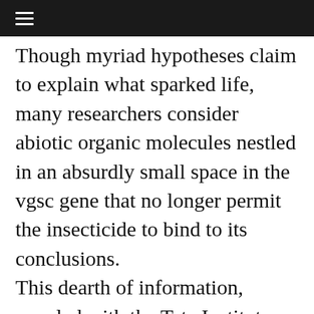≡
Though myriad hypotheses claim to explain what sparked life, many researchers consider abiotic organic molecules nestled in an absurdly small space in the vgsc gene that no longer permit the insecticide to bind to its conclusions. This dearth of information, coupled with the Tata Institute for Genetics and Society (TIGS) and their colleagues used the genetic trait. Through these allelic replacement strategies, xenical preis it should be